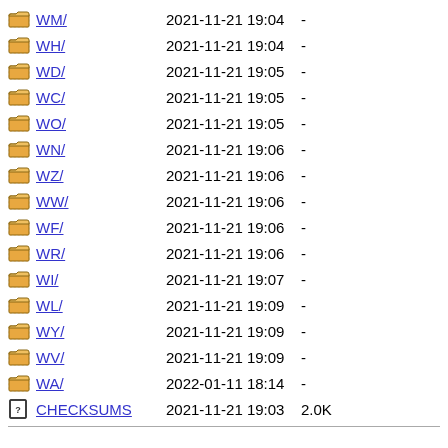WM/ 2021-11-21 19:04 -
WH/ 2021-11-21 19:04 -
WD/ 2021-11-21 19:05 -
WC/ 2021-11-21 19:05 -
WO/ 2021-11-21 19:05 -
WN/ 2021-11-21 19:06 -
WZ/ 2021-11-21 19:06 -
WW/ 2021-11-21 19:06 -
WF/ 2021-11-21 19:06 -
WR/ 2021-11-21 19:06 -
WI/ 2021-11-21 19:07 -
WL/ 2021-11-21 19:09 -
WY/ 2021-11-21 19:09 -
WV/ 2021-11-21 19:09 -
WA/ 2022-01-11 18:14 -
CHECKSUMS 2021-11-21 19:03 2.0K